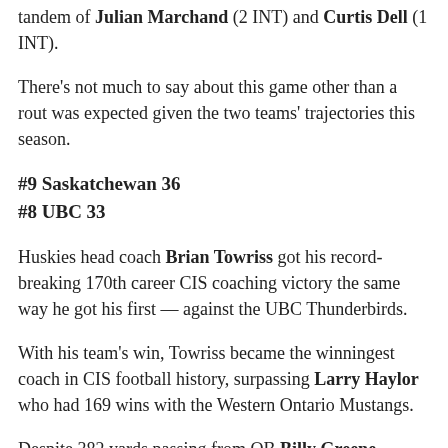tandem of Julian Marchand (2 INT) and Curtis Dell (1 INT).
There's not much to say about this game other than a rout was expected given the two teams' trajectories this season.
#9 Saskatchewan 36
#8 UBC 33
Huskies head coach Brian Towriss got his record-breaking 170th career CIS coaching victory the same way he got his first — against the UBC Thunderbirds.
With his team's win, Towriss became the winningest coach in CIS football history, surpassing Larry Haylor who had 169 wins with the Western Ontario Mustangs.
Despite 382 yards passing from QB Billy Greene — who threw his first interception of the season in the loss — UBC couldn't come back from a 20 point third quarter from Saskatchewan.